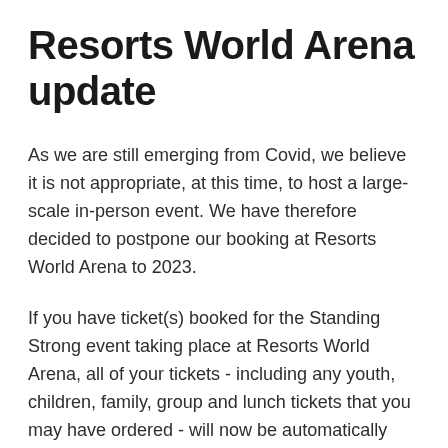Resorts World Arena update
As we are still emerging from Covid, we believe it is not appropriate, at this time, to host a large-scale in-person event. We have therefore decided to postpone our booking at Resorts World Arena to 2023.
If you have ticket(s) booked for the Standing Strong event taking place at Resorts World Arena, all of your tickets - including any youth, children, family, group and lunch tickets that you may have ordered - will now be automatically